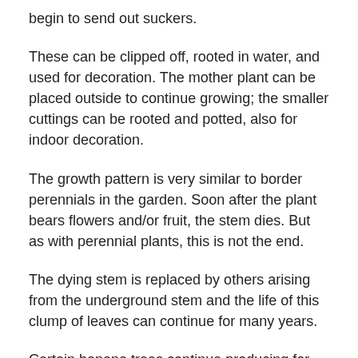begin to send out suckers.
These can be clipped off, rooted in water, and used for decoration. The mother plant can be placed outside to continue growing; the smaller cuttings can be rooted and potted, also for indoor decoration.
The growth pattern is very similar to border perennials in the garden. Soon after the plant bears flowers and/or fruit, the stem dies. But as with perennial plants, this is not the end.
The dying stem is replaced by others arising from the underground stem and the life of this clump of leaves can continue for many years.
Certain banana trees continue producing for up to 100 years, although nowadays most banana plantations renew their stock